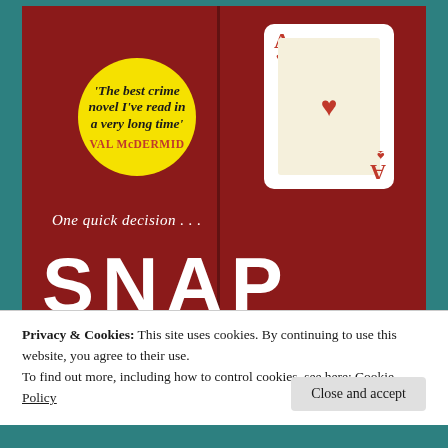[Figure (photo): Book cover of 'SNAP' showing a dark red cover with an Ace of Hearts playing card, a yellow circular sticker with blurb quote from Val McDermid reading 'The best crime novel I've read in a very long time', tagline 'One quick decision...' and large white SNAP title text at the bottom.]
Privacy & Cookies: This site uses cookies. By continuing to use this website, you agree to their use.
To find out more, including how to control cookies, see here: Cookie Policy
Close and accept